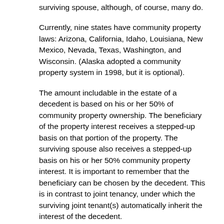surviving spouse, although, of course, many do.
Currently, nine states have community property laws: Arizona, California, Idaho, Louisiana, New Mexico, Nevada, Texas, Washington, and Wisconsin. (Alaska adopted a community property system in 1998, but it is optional).
The amount includable in the estate of a decedent is based on his or her 50% of community property ownership. The beneficiary of the property interest receives a stepped-up basis on that portion of the property. The surviving spouse also receives a stepped-up basis on his or her 50% community property interest. It is important to remember that the beneficiary can be chosen by the decedent. This is in contrast to joint tenancy, under which the surviving joint tenant(s) automatically inherit the interest of the decedent.